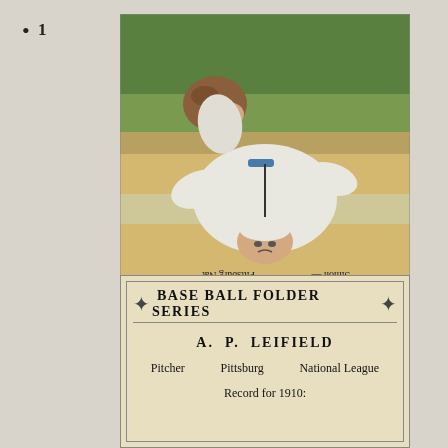1
[Figure (photo): Vintage baseball card image showing a player (Simon, Pittsburgh Nat) photographed upside down, wearing a white uniform with blue accents and holding a glove. The image is oriented upside-down with text reading 'Simon — Pittsburgh Nat' along the bottom edge (which appears at the top when flipped).]
BASE BALL FOLDER SERIES
A. P. LEIFIELD
Pitcher     Pittsburg     National League
Record for 1910: